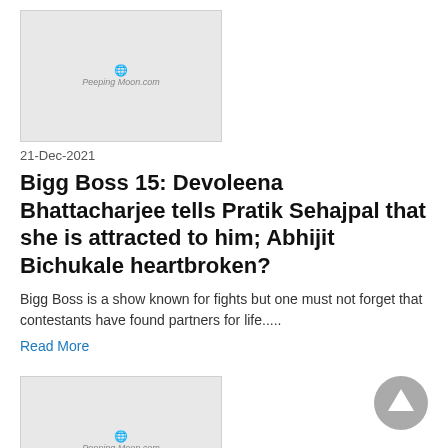[Figure (logo): Thumbnail image with PeepingMoon.com watermark logo on light gray background]
21-Dec-2021
Bigg Boss 15: Devoleena Bhattacharjee tells Pratik Sehajpal that she is attracted to him; Abhijit Bichukale heartbroken?
Bigg Boss is a show known for fights but one must not forget that contestants have found partners for life.....
Read More
[Figure (logo): Thumbnail image with PeepingMoon.com watermark logo on light gray background]
20-Dec-2021